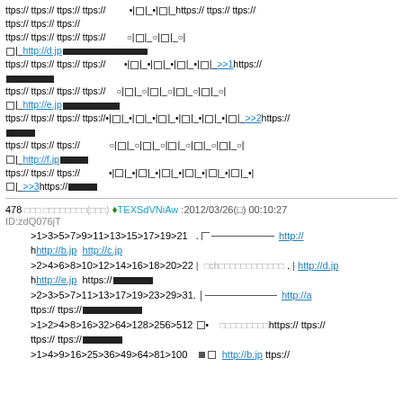ttps:// ttps:// ttps:// ttps://  •|□|_•|□|_https:// ttps:// ttps:// ttps:// ttps:// ttps:// ttps:// ttps:// ttps://  ○|□|_○|□|_○| □|_http://d.jp████████████████ ttps:// ttps:// ttps:// ttps://  •|□|_•|□|_•|□|_•|□|_>>1https:// ████████████ ttps:// ttps:// ttps:// ttps://  ○|□|_○|□|_○|□|_○|□|_○| □|_http://e.jp█████████████ ttps:// ttps:// ttps:// ttps://•|□|_•|□|_•|□|_•|□|_•|□|_•|□|_>>2https:// ██████████ ttps:// ttps:// ttps://  ○|□|_○|□|_○|□|_○|□|_○|□|_○| □|_http://f.jp██████████ ttps:// ttps:// ttps://  •|□|_•|□|_•|□|_•|□|_•|□|_•|□|_•| □|_>>3https://██████████
478  □□□ □□□□□□□□(□□□) ♦TEXSdVNiAw :2012/03/26(□) 00:10:27 ID:zdQ076jT
>1>3>5>7>9>11>13>15>17>19>21  . ┌─────────── http:// hhttp://b.jp http://c.jp
>2>4>6>8>10>12>14>16>18>20>22 | □ch□□□□□□□□□□□□ . | http://d.jp hhttp://e.jp https://██████
>2>3>5>7>11>13>17>19>23>29>31. ├─────────── http://a ttps:// ttps://█████████████
>1>2>4>8>16>32>64>128>256>512 □•  □□□□□□□□□https:// ttps:// ttps:// ttps://█████████
>1>4>9>16>25>36>49>64>81>100  ■□ http://b.jp ttps://